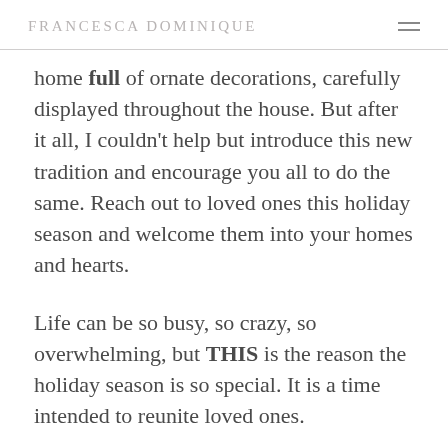FRANCESCA DOMINIQUE
home full of ornate decorations, carefully displayed throughout the house. But after it all, I couldn't help but introduce this new tradition and encourage you all to do the same. Reach out to loved ones this holiday season and welcome them into your homes and hearts.
Life can be so busy, so crazy, so overwhelming, but THIS is the reason the holiday season is so special. It is a time intended to reunite loved ones.